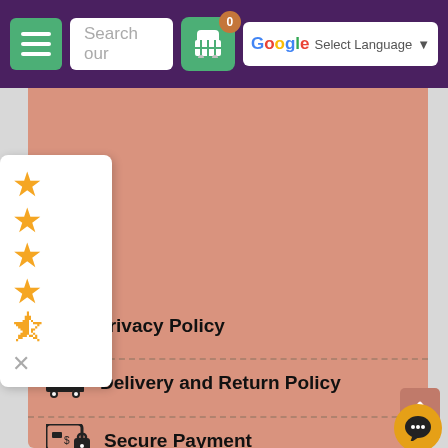[Figure (screenshot): E-commerce website navigation bar with menu button, search field, cart icon with badge showing 0, and Google Translate language selector]
[Figure (other): Star rating widget showing 4.5 stars out of 5, displayed as a white popup card with a close (x) button]
Privacy Policy
Delivery and Return Policy
Secure Payment